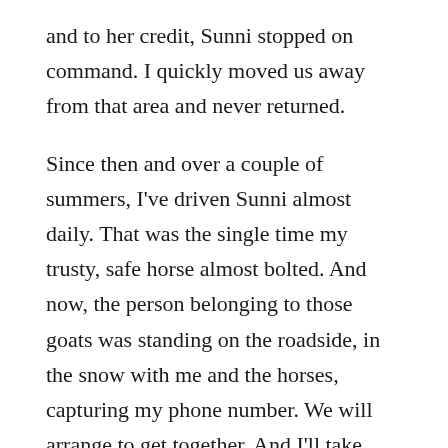and to her credit, Sunni stopped on command. I quickly moved us away from that area and never returned.
Since then and over a couple of summers, I've driven Sunni almost daily. That was the single time my trusty, safe horse almost bolted. And now, the person belonging to those goats was standing on the roadside, in the snow with me and the horses, capturing my phone number. We will arrange to get together. And I'll take Sunni to the canal to meet those goats.
Yesterday was another fine event of “horses as friend magnets”. Folks who’ve previously been around or worked with horses don’t “get over” the experience. If there’s a horse-past in the back of one’s mind, it flashes alive upon sighting a horse.